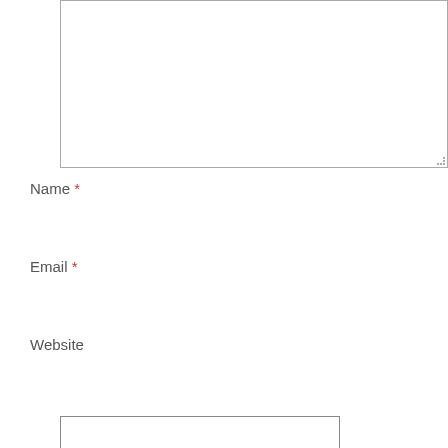[Figure (other): Empty textarea input box with resize handle in bottom-right corner]
Name *
[Figure (other): Text input field for Name]
Email *
[Figure (other): Text input field for Email]
Website
[Figure (other): Advertisement box with BAM! logo, checkmarks for In-store shopping and Curbside pickup, X for Delivery, and a blue navigation arrow icon]